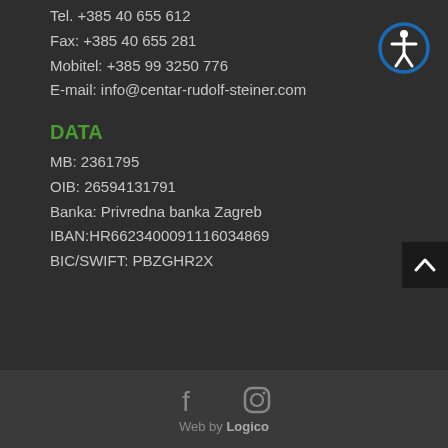Tel. +385 40 655 612
Fax: +385 40 655 281
Mobitel: +385 99 3250 776
E-mail: info@centar-rudolf-steiner.com
DATA
MB: 2361795
OIB: 26594131791
Banka: Privredna banka Zagreb
IBAN:HR6623400091116034869
BIC/SWIFT: PBZGHR2X
[Figure (logo): Accessibility icon - circular blue border with white stick figure]
[Figure (infographic): Back to top button - dark square with white upward chevron]
[Figure (infographic): Social media icons: Facebook and Instagram in grey]
Web by Logico